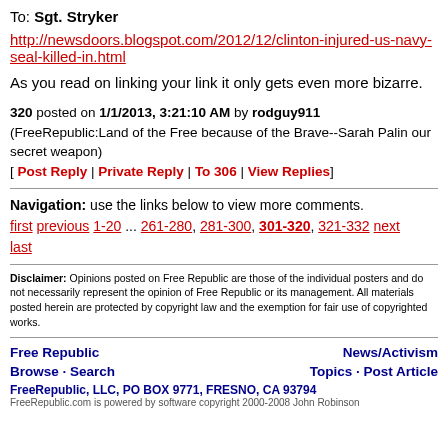To: Sgt. Stryker
http://newsdoors.blogspot.com/2012/12/clinton-injured-us-navy-seal-killed-in.html
As you read on linking your link it only gets even more bizarre.
320 posted on 1/1/2013, 3:21:10 AM by rodguy911 (FreeRepublic:Land of the Free because of the Brave--Sarah Palin our secret weapon)
[ Post Reply | Private Reply | To 306 | View Replies]
Navigation: use the links below to view more comments.
first previous 1-20 ... 261-280, 281-300, 301-320, 321-332 next
last
Disclaimer: Opinions posted on Free Republic are those of the individual posters and do not necessarily represent the opinion of Free Republic or its management. All materials posted herein are protected by copyright law and the exemption for fair use of copyrighted works.
Free Republic   News/Activism
Browse · Search   Topics · Post Article
FreeRepublic, LLC, PO BOX 9771, FRESNO, CA 93794
FreeRepublic.com is powered by software copyright 2000-2008 John Robinson